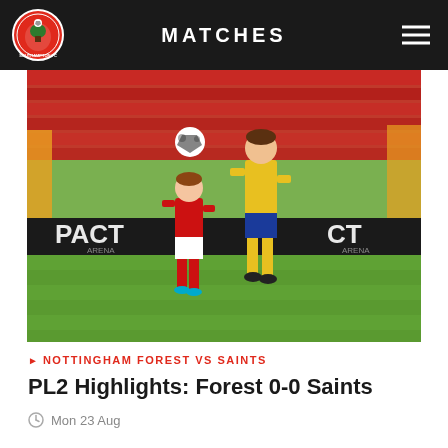MATCHES
[Figure (photo): Two football players competing for a header — one in red (Nottingham Forest) and one in yellow and blue (Southampton Saints) — on a grass pitch with red stadium seating and advertising boards in the background.]
NOTTINGHAM FOREST VS SAINTS
PL2 Highlights: Forest 0-0 Saints
Mon 23 Aug